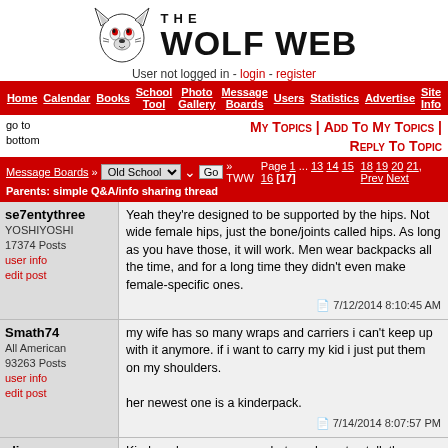[Figure (logo): The Wolf Web site logo with wolf head illustration and text 'The Wolf Web']
User not logged in - login - register
Home | Calendar | Books | School Tool | Photo Gallery | Message Boards | Users | Statistics | Advertise | Site Info
go to bottom
My Topics | Add To My Topics | Reply To Topic
Message Boards » Old School » TWW  Page 1 ... 13 14 15 16 [17] 18 19 20 21, Prev Next
Parents: simple Q&A/info sharing thread
se7entythree
YOSHIYOSHI
17374 Posts
user info
edit post
Yeah they're designed to be supported by the hips. Not wide female hips, just the bone/joints called hips. As long as you have those, it will work. Men wear backpacks all the time, and for a long time they didn't even make female-specific ones.
7/12/2014 8:10:45 AM
Smath74
All American
93263 Posts
user info
edit post
my wife has so many wraps and carriers i can't keep up with it anymore. if i want to carry my kid i just put them on my shoulders.

her newest one is a kinderpack.
7/14/2014 8:07:57 PM
elise
mainly potato
13071 Posts
Kinderpaks are awesome but you have to stalk the page on Thursday to get a print you want.